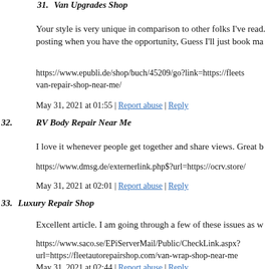31. Van Upgrades Shop
Your style is very unique in comparison to other folks I've read. posting when you have the opportunity, Guess I'll just book ma
https://www.epubli.de/shop/buch/45209/go?link=https://fleets van-repair-shop-near-me/
May 31, 2021 at 01:55 | Report abuse | Reply
32. RV Body Repair Near Me
I love it whenever people get together and share views. Great b
https://www.dmsg.de/externerlink.php$?url=https://ocrv.store/
May 31, 2021 at 02:01 | Report abuse | Reply
33. Luxury Repair Shop
Excellent article. I am going through a few of these issues as w
https://www.saco.se/EPiServerMail/Public/CheckLink.aspx?url=https://fleetautorepairshop.com/van-wrap-shop-near-me
May 31, 2021 at 02:44 | Report abuse | Reply
34. EncoxDev
canada rx drugs online pharmacy tech classes good online ma